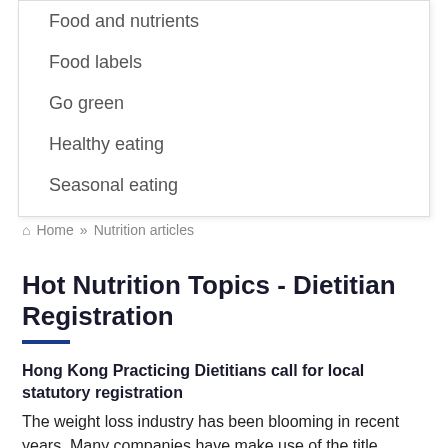Food and nutrients
Food labels
Go green
Healthy eating
Seasonal eating
🏠 Home » Nutrition articles
Hot Nutrition Topics - Dietitian Registration
Hong Kong Practicing Dietitians call for local statutory registration
The weight loss industry has been blooming in recent years. Many companies have make use of the title